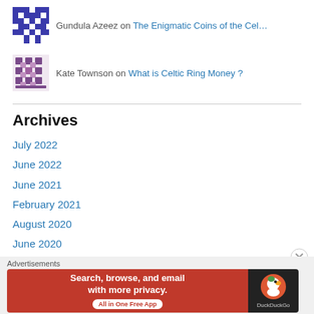Gundula Azeez on The Enigmatic Coins of the Cel...
Kate Townson on What is Celtic Ring Money ?
Archives
July 2022
June 2022
June 2021
February 2021
August 2020
June 2020
May 2020
April 2020
Advertisements
[Figure (screenshot): DuckDuckGo ad banner: Search, browse, and email with more privacy. All in One Free App]